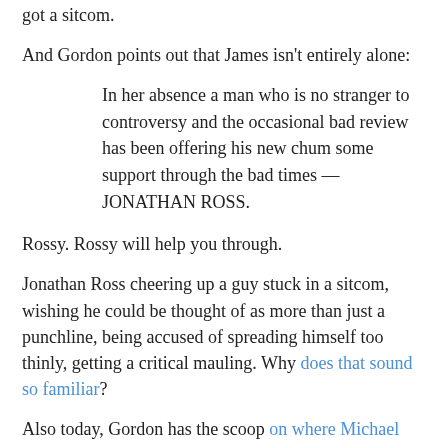got a sitcom.
And Gordon points out that James isn't entirely alone:
In her absence a man who is no stranger to controversy and the occasional bad review has been offering his new chum some support through the bad times — JONATHAN ROSS.
Rossy. Rossy will help you through.
Jonathan Ross cheering up a guy stuck in a sitcom, wishing he could be thought of as more than just a punchline, being accused of spreading himself too thinly, getting a critical mauling. Why does that sound so familiar?
Also today, Gordon has the scoop on where Michael Jackson will be staying during his three year residency in Camden:
THRILLER star MICHAEL JACKSON will stay next to HAUNTED CAVES during his 50-concert